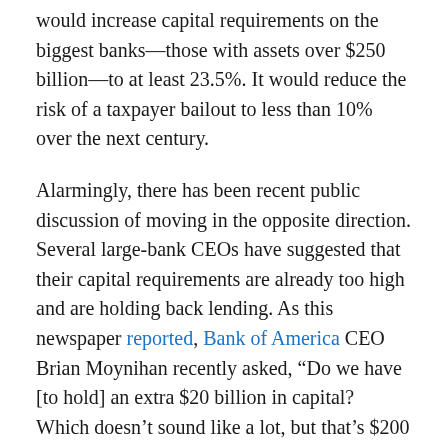would increase capital requirements on the biggest banks—those with assets over $250 billion—to at least 23.5%. It would reduce the risk of a taxpayer bailout to less than 10% over the next century.
Alarmingly, there has been recent public discussion of moving in the opposite direction. Several large-bank CEOs have suggested that their capital requirements are already too high and are holding back lending. As this newspaper reported, Bank of America CEO Brian Moynihan recently asked, “Do we have [to hold] an extra $20 billion in capital? Which doesn’t sound like a lot, but that’s $200 billion in loans we could make.”
It is true that some regulations implemented after the 2008 financial crisis are imposing undue burdens, especially on small banks, without actually making the financial system